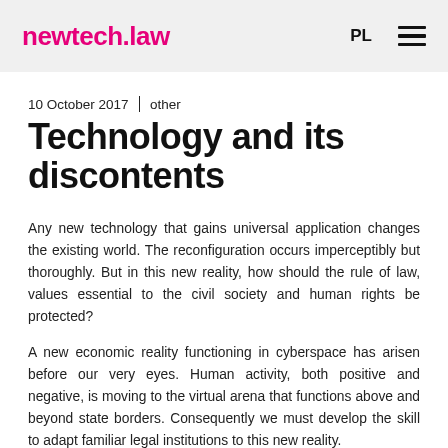newtech.law   PL  ☰
10 October 2017 | other
Technology and its discontents
Any new technology that gains universal application changes the existing world. The reconfiguration occurs imperceptibly but thoroughly. But in this new reality, how should the rule of law, values essential to the civil society and human rights be protected?
A new economic reality functioning in cyberspace has arisen before our very eyes. Human activity, both positive and negative, is moving to the virtual arena that functions above and beyond state borders. Consequently we must develop the skill to adapt familiar legal institutions to this new reality.